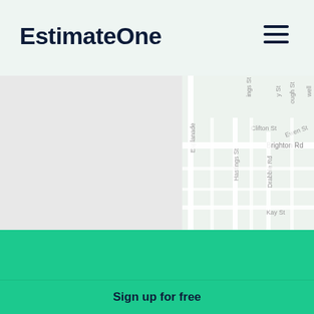EstimateOne
[Figure (map): Street map showing Brighton Rd area with Esplanade, Hastings St, Drabble Rd, Ewen St, Clifton St, Kay St visible. Left portion has blue overlay blocks.]
Why EstimateOne?
EstimateOne is a noticeboard of upcoming commercial construction projects, and the
Sign up for free